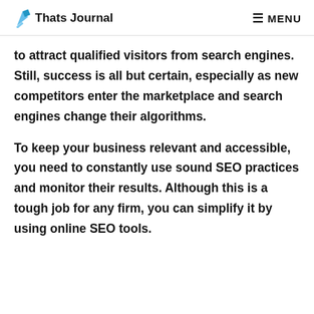Thats Journal | MENU
to attract qualified visitors from search engines. Still, success is all but certain, especially as new competitors enter the marketplace and search engines change their algorithms.
To keep your business relevant and accessible, you need to constantly use sound SEO practices and monitor their results. Although this is a tough job for any firm, you can simplify it by using online SEO tools.